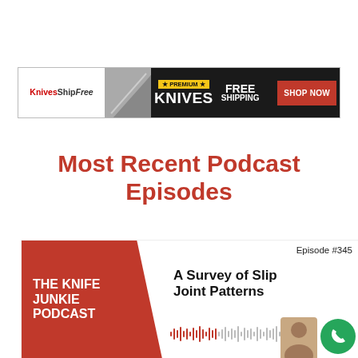[Figure (screenshot): KnivesShipFree advertisement banner: white left section with logo, dark background with 'PREMIUM KNIVES' badge in yellow, 'FREE SHIPPING' text in white, and red 'SHOP NOW' button]
Most Recent Podcast Episodes
[Figure (screenshot): The Knife Junkie Podcast episode card - Episode #345 'A Survey of Slip Joint Patterns'. Red left panel with show name in white bold text, white right panel with episode title, waveform audio graphic, person photo, and green phone button.]